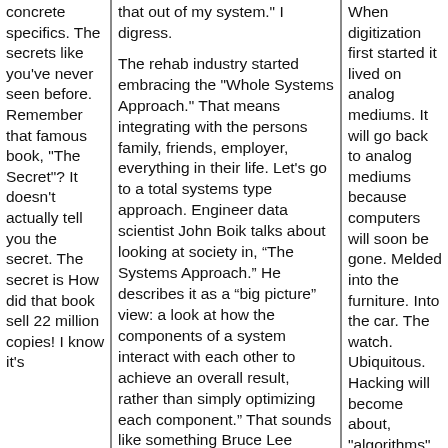concrete specifics. The secrets like you've never seen before. Remember that famous book, "The Secret"? It doesn't actually tell you the secret. The secret is How did that book sell 22 million copies! I know it's
that out of my system." I digress.

The rehab industry started embracing the "Whole Systems Approach." That means integrating with the persons family, friends, employer, everything in their life. Let's go to a total systems type approach. Engineer data scientist John Boik talks about looking at society in, “The Systems Approach.” He describes it as a “big picture” view: a look at how the components of a system interact with each other to achieve an overall result, rather than simply optimizing each component.” That sounds like something Bruce Lee would say.

Think of that "bigger picture" as full of algorithms. These are little formulas, little recipes, equations, that do
When digitization first started it lived on analog mediums. It will go back to analog mediums because computers will soon be gone. Melded into the furniture. Into the car. The watch. Ubiquitous. Hacking will become about, "algorithms" rather than